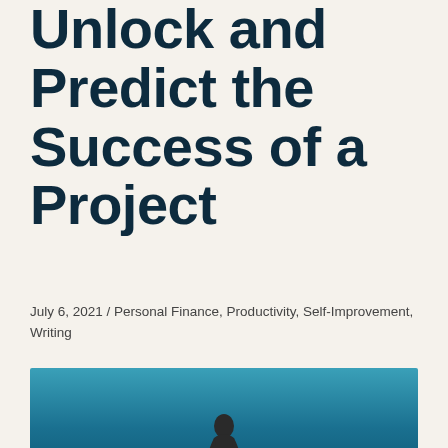Unlock and Predict the Success of a Project
July 6, 2021 / Personal Finance, Productivity, Self-Improvement, Writing
[Figure (photo): A person standing against a bright blue-teal gradient background, photographed from a distance, cropped at the bottom of the page.]